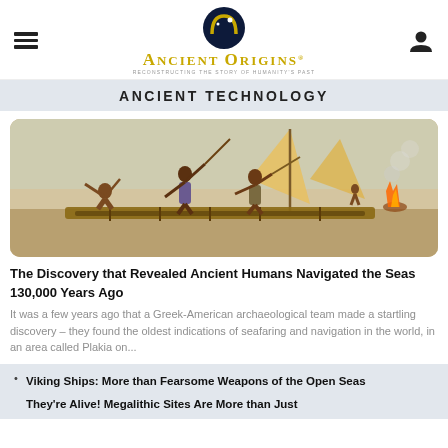Ancient Origins — Reconstructing the story of humanity's past
ANCIENT TECHNOLOGY
[Figure (illustration): Historical illustration of ancient humans on a wooden raft or boat, holding spears and paddles, with a sail in the background and fire on the right side]
The Discovery that Revealed Ancient Humans Navigated the Seas 130,000 Years Ago
It was a few years ago that a Greek-American archaeological team made a startling discovery – they found the oldest indications of seafaring and navigation in the world, in an area called Plakia on...
Viking Ships: More than Fearsome Weapons of the Open Seas
They're Alive! Megalithic Sites Are More than Just